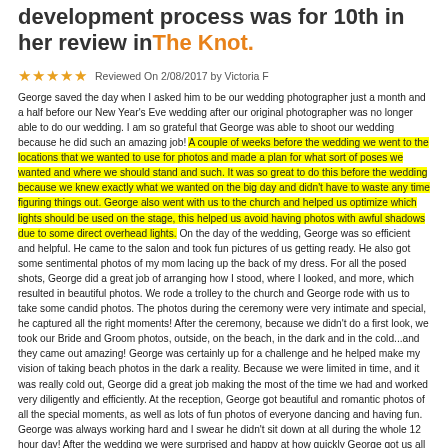development process was for 10th in her review in The Knot.
Reviewed On 2/08/2017 by Victoria F
George saved the day when I asked him to be our wedding photographer just a month and a half before our New Year's Eve wedding after our original photographer was no longer able to do our wedding. I am so grateful that George was able to shoot our wedding because he did such an amazing job! A couple of weeks before the wedding we went to the locations that we wanted to use for photos and made a plan for what sort of poses we wanted and where we should stand and such. It was so great to do this before the wedding because we knew exactly what we wanted on the big day and didn't have to waste any time figuring things out. George also went with us to the church and helped us optimize which lights should be used on the stage, this helped us avoid having photos with awful shadows due to some direct overhead lights. On the day of the wedding, George was so efficient and helpful. He came to the salon and took fun pictures of us getting ready. He also got some sentimental photos of my mom lacing up the back of my dress. For all the posed shots, George did a great job of arranging how I stood, where I looked, and more, which resulted in beautiful photos. We rode a trolley to the church and George rode with us to take some candid photos. The photos during the ceremony were very intimate and special, he captured all the right moments! After the ceremony, because we didn't do a first look, we took our Bride and Groom photos, outside, on the beach, in the dark and in the cold...and they came out amazing! George was certainly up for a challenge and he helped make my vision of taking beach photos in the dark a reality. Because we were limited in time, and it was really cold out, George did a great job making the most of the time we had and worked very diligently and efficiently. At the reception, George got beautiful and romantic photos of all the special moments, as well as lots of fun photos of everyone dancing and having fun. George was always working hard and I swear he didn't sit down at all during the whole 12 hour day! After the wedding we were surprised and happy at how quickly George got us all the photos and how well they were edited. He also worked with us to touch up some additional photos that we wanted changed a little. He made us a highlight video that all our friends and family really enjoyed. I would highly recommend George Ross to any couple looking for a hardworking photographer who captures amazing moments in his beautiful photos! Read Less ▲